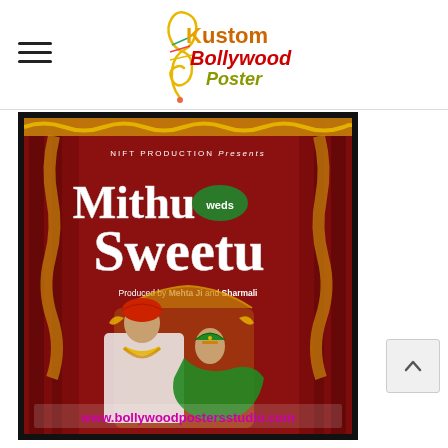[Figure (logo): Kustom Bollywood Poster logo — a treble clef with colorful lettering, 'Kustom' in orange/yellow gradient, 'Bollywood' in red, 'Poster' in yellow-green, on white background]
[Figure (photo): Custom Bollywood-style wedding poster titled 'Mithu weds Sweetu' by NIFT Production Presents, produced by Mehta Ji and Sharmali. Shows a groom in white kurta and red turban seated on ornate gold throne, bride in green saree reclining beside him, both in traditional Indian wedding attire with flower garlands. Red curtain backdrop with marigold decorations. Bottom text: www.bollywoodpostersstudio.com in magenta/pink color.]